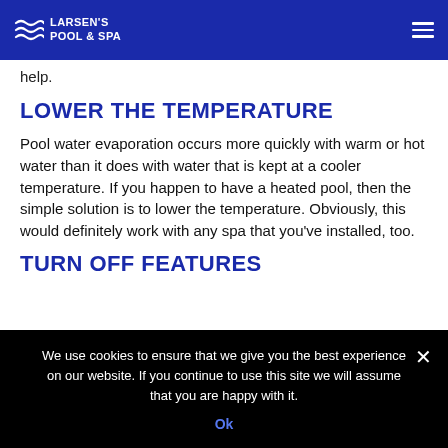Larsen's Pool & Spa
help.
LOWER THE TEMPERATURE
Pool water evaporation occurs more quickly with warm or hot water than it does with water that is kept at a cooler temperature. If you happen to have a heated pool, then the simple solution is to lower the temperature. Obviously, this would definitely work with any spa that you've installed, too.
TURN OFF FEATURES
We use cookies to ensure that we give you the best experience on our website. If you continue to use this site we will assume that you are happy with it. Ok